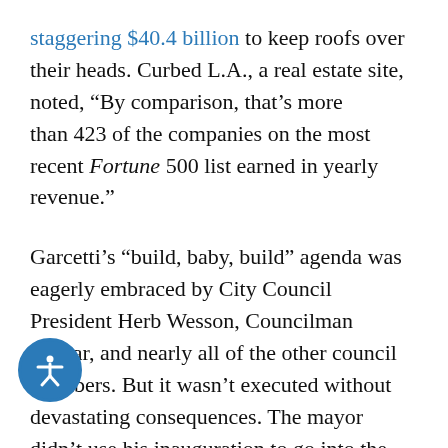staggering $40.4 billion to keep roofs over their heads. Curbed L.A., a real estate site, noted, “By comparison, that’s more than 423 of the companies on the most recent Fortune 500 list earned in yearly revenue.”
Garcetti’s “build, baby, build” agenda was eagerly embraced by City Council President Herb Wesson, Councilman Huizar, and nearly all of the other council members. But it wasn’t executed without devastating consequences. The mayor didn’t use his inauguration to go into the disastrous details, but housing justice and tenants rights groups knew what was happening. Even City Hall databases, created by